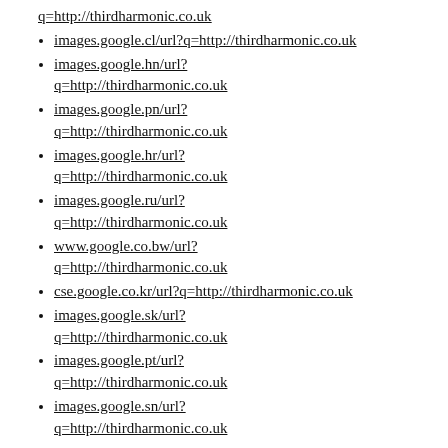q=http://thirdharmonic.co.uk
images.google.cl/url?q=http://thirdharmonic.co.uk
images.google.hn/url?q=http://thirdharmonic.co.uk
images.google.pn/url?q=http://thirdharmonic.co.uk
images.google.hr/url?q=http://thirdharmonic.co.uk
images.google.ru/url?q=http://thirdharmonic.co.uk
www.google.co.bw/url?q=http://thirdharmonic.co.uk
cse.google.co.kr/url?q=http://thirdharmonic.co.uk
images.google.sk/url?q=http://thirdharmonic.co.uk
images.google.pt/url?q=http://thirdharmonic.co.uk
images.google.sn/url?q=http://thirdharmonic.co.uk